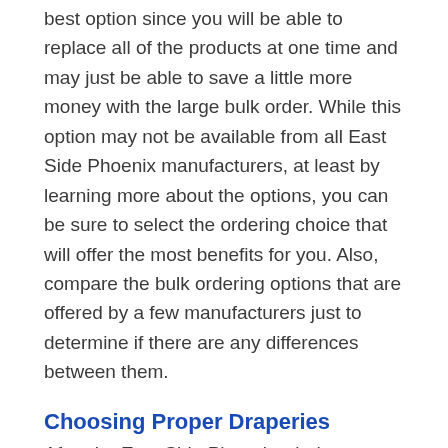best option since you will be able to replace all of the products at one time and may just be able to save a little more money with the large bulk order. While this option may not be available from all East Side Phoenix manufacturers, at least by learning more about the options, you can be sure to select the ordering choice that will offer the most benefits for you. Also, compare the bulk ordering options that are offered by a few manufacturers just to determine if there are any differences between them.
Choosing Proper Draperies
After the East Side Phoenix window replacement job is completed in your property, you can then begin settling on the finishing touches for them. These finishing touches typically include selecting proper draperies that will complete the style of each replacement window that has been installed. Whether you want to select draperies that will help make your office feel more...